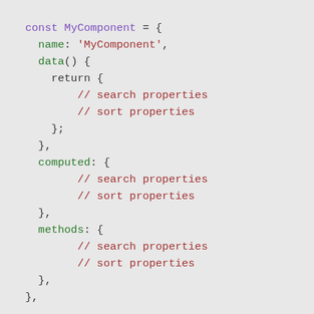const MyComponent = {
  name: 'MyComponent',
  data() {
    return {
        // search properties
        // sort properties
    };
  },
  computed: {
        // search properties
        // sort properties
  },
  methods: {
        // search properties
        // sort properties
  },
},